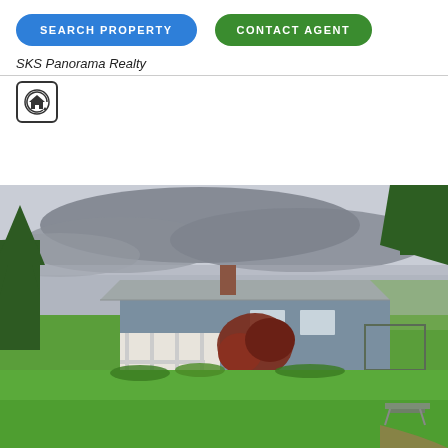SEARCH PROPERTY
CONTACT AGENT
SKS Panorama Realty
[Figure (logo): Circular house/realty logo icon inside a rounded square border]
[Figure (photo): Exterior photo of a single-story ranch-style house with a metal roof, front porch, red-leafed Japanese maple tree in front, lush green lawn, and overcast sky. Tall conifer trees visible on the left and right sides.]